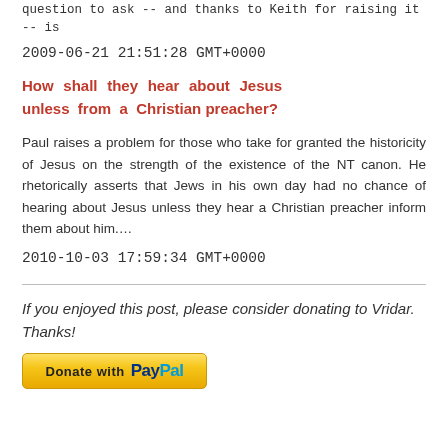question to ask -- and thanks to Keith for raising it -- is
2009-06-21 21:51:28 GMT+0000
How shall they hear about Jesus unless from a Christian preacher?
Paul raises a problem for those who take for granted the historicity of Jesus on the strength of the existence of the NT canon. He rhetorically asserts that Jews in his own day had no chance of hearing about Jesus unless they hear a Christian preacher inform them about him....
2010-10-03 17:59:34 GMT+0000
If you enjoyed this post, please consider donating to Vridar. Thanks!
[Figure (other): PayPal donation button with yellow gradient background and PayPal logo]